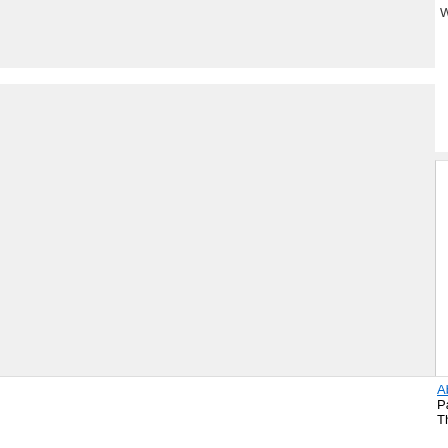Website: https://www.icbb.apaset.edu.ph...
ICBB 2023  10th International Conference...
ICBB 2022  8th International Conference...
ICBB 2022  8th International Conference...
MDA AI&PR 2023  18th International Conf... Biotechnology, Food Industries and Dieteti...
MDA AI&PR 2023  MDA AI&PR 2023 : 18... Applications in Medicine, r/g/b Biotechnolo...
ICAFB 2023  2023 5th International Confe...
ICBCB--Ei 2023  2023 11th International C...
ICBEA 2023  2023 7th International Confe...
ACM IMIP 2023  ACM--2023 5th Internatic...
CIRSY 2022  8th International Conference...
About Us | Contact Us | Data | Privacy Policy | Terms a... Partners: AI2's Semantic Scholar This wiki is licensed under a Creative Commons Attribu...